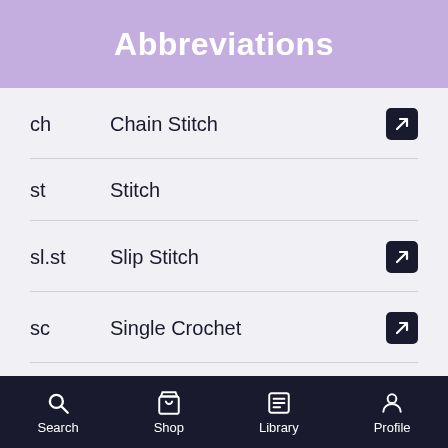Abbreviations
ch — Chain Stitch
st — Stitch
sl.st — Slip Stitch
sc — Single Crochet
inc — Increase
dec — Decrease
Search  Shop  Library  Profile